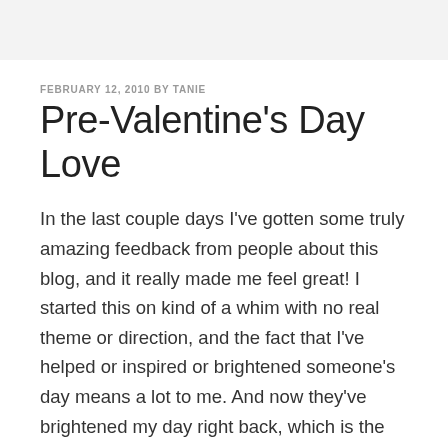FEBRUARY 12, 2010 BY TANIE
Pre-Valentine's Day Love
In the last couple days I've gotten some truly amazing feedback from people about this blog, and it really made me feel great! I started this on kind of a whim with no real theme or direction, and the fact that I've helped or inspired or brightened someone's day means a lot to me. And now they've brightened my day right back, which is the true power of